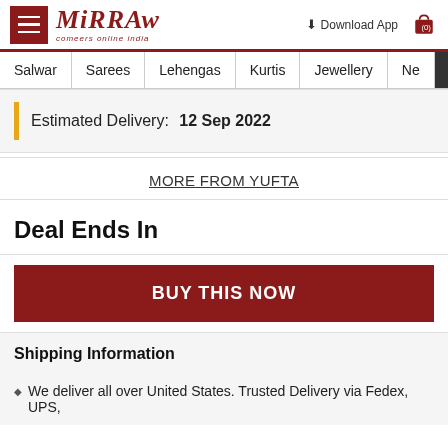Mirraw — comeers online india | Download App | (0)
Salwar | Sarees | Lehengas | Kurtis | Jewellery | Ne >
Estimated Delivery:  12 Sep 2022
MORE FROM YUFTA
Deal Ends In
BUY THIS NOW
Shipping Information
We deliver all over United States. Trusted Delivery via Fedex, UPS,